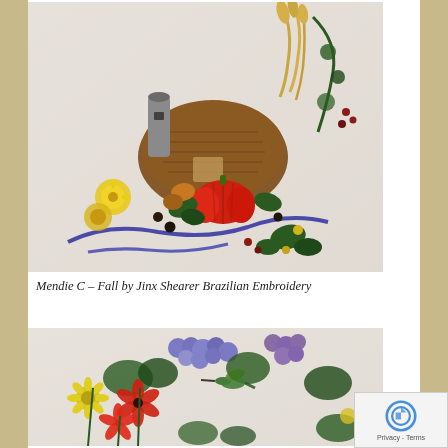[Figure (photo): Close-up photograph of Brazilian embroidery on white fabric depicting a fall harvest scene with a barn/haystack, pumpkins, flowers, and a blue ribbon, all worked in colorful threads.]
Mendie C – Fall by Jinx Shearer Brazilian Embroidery
[Figure (photo): Close-up photograph of Brazilian embroidery on white fabric showing a colorful floral arrangement with blue/purple wisteria, red coneflowers, yellow flowers, and a hummingbird.]